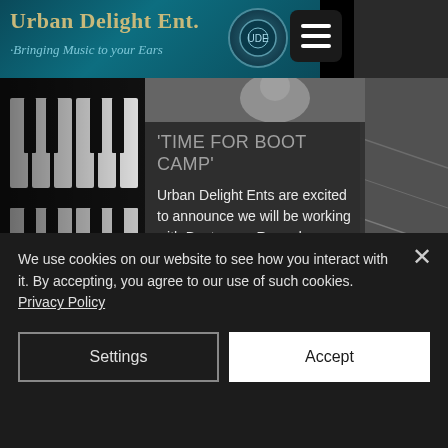Urban Delight Ent. · Bringing Music to your Ears
'TIME FOR BOOT CAMP'
Urban Delight Ents are excited to announce we will be working with Boot camp Records on some very exciting projects for 2019-2020! We would tell you more but have
We use cookies on our website to see how you interact with it. By accepting, you agree to our use of such cookies. Privacy Policy
Settings
Accept